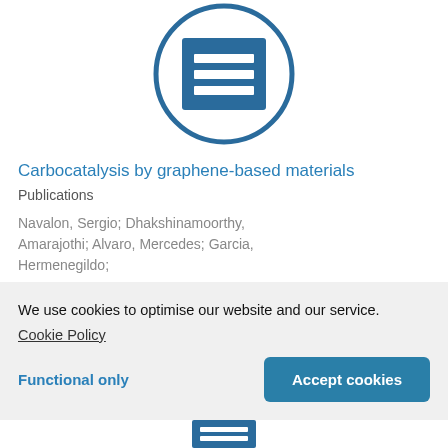[Figure (logo): Document/publication icon: a circle outline with a blue rectangle containing three white horizontal lines inside, representing a document or article icon]
Carbocatalysis by graphene-based materials
Publications
Navalon, Sergio; Dhakshinamoorthy, Amarajothi; Alvaro, Mercedes; Garcia, Hermenegildo;
We use cookies to optimise our website and our service.
Cookie Policy
Functional only
Accept cookies